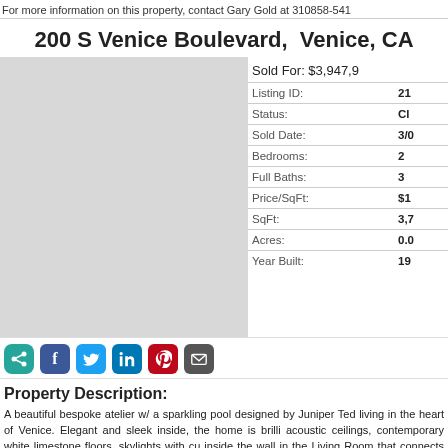For more information on this property, contact Gary Gold at 310858-541
200 S Venice Boulevard,  Venice, CA
Sold For: $3,947,9
| Field | Value |
| --- | --- |
| Listing ID: | 21 |
| Status: | Cl |
| Sold Date: | 3/0 |
| Bedrooms: | 2 |
| Full Baths: | 3 |
| Price/SqFt: | $1 |
| SqFt: | 3,7 |
| Acres: | 0.0 |
| Year Built: | 19 |
[Figure (photo): Property photo placeholder area]
Property Description:
A beautiful bespoke atelier w/ a sparkling pool designed by Juniper Ted living in the heart of Venice. Elegant and sleek inside, the home is brilli acoustic ceilings, contemporary white limestone floors, skylights with cu inside the wall in the Living Room that connects you to an open contem